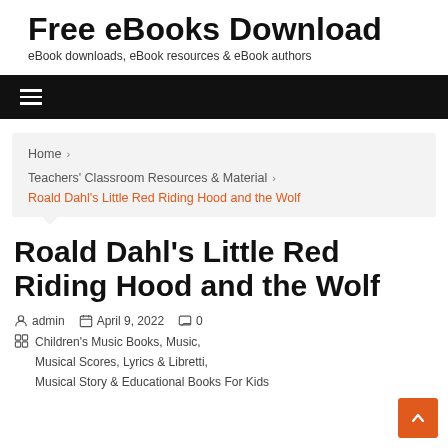Free eBooks Download
eBook downloads, eBook resources & eBook authors
[Figure (other): Black navigation bar with hamburger menu icon]
Home > Teachers' Classroom Resources & Material > Roald Dahl's Little Red Riding Hood and the Wolf
Roald Dahl's Little Red Riding Hood and the Wolf
admin  April 9, 2022  0
Children's Music Books, Music, Musical Scores, Lyrics & Libretti, Musical Story & Educational Books For Kids